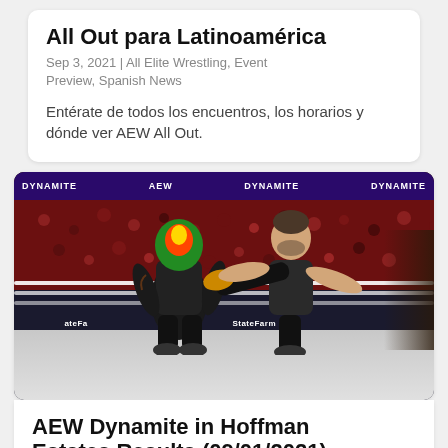All Out para Latinoamérica
Sep 3, 2021 | All Elite Wrestling, Event Preview, Spanish News
Entérate de todos los encuentros, los horarios y dónde ver AEW All Out.
[Figure (photo): Two professional wrestlers in an AEW Dynamite ring. One masked wrestler wearing colorful lucha mask and another performer delivering a kick. Crowd visible in background, State Farm advertising board visible, purple AEW Dynamite banner at top.]
AEW Dynamite in Hoffman Estates Results (09/01/2021)